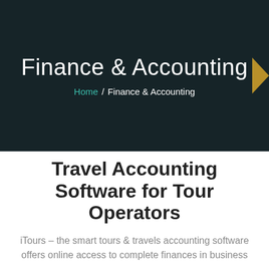Finance & Accounting
Home /  Finance & Accounting
Travel Accounting Software for Tour Operators
iTours – the smart tours & travels accounting software offers online access to complete finances in business